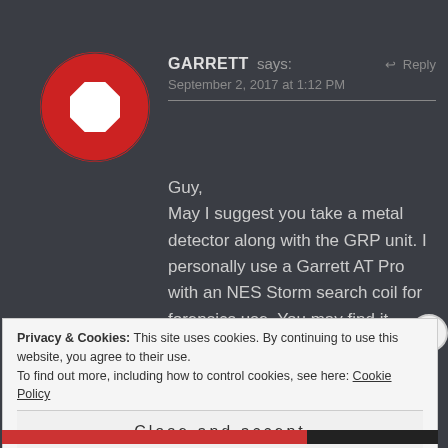[Figure (illustration): Circular avatar with red and white geometric/quilted pattern design on dark background]
GARRETT says:
September 2, 2017 at 1:12 PM
↩ Reply
Guy,
May I suggest you take a metal detector along with the GRP unit. I personally use a Garrett AT Pro with an NES Storm search coil for forensics use. You may find it helpful in locating coins, belt buckles, shoe eyelets etc.
Privacy & Cookies: This site uses cookies. By continuing to use this website, you agree to their use.
To find out more, including how to control cookies, see here: Cookie Policy
Close and accept